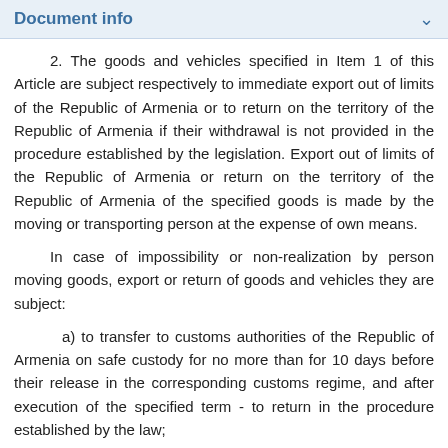Document info
2. The goods and vehicles specified in Item 1 of this Article are subject respectively to immediate export out of limits of the Republic of Armenia or to return on the territory of the Republic of Armenia if their withdrawal is not provided in the procedure established by the legislation. Export out of limits of the Republic of Armenia or return on the territory of the Republic of Armenia of the specified goods is made by the moving or transporting person at the expense of own means.
In case of impossibility or non-realization by person moving goods, export or return of goods and vehicles they are subject:
a) to transfer to customs authorities of the Republic of Armenia on safe custody for no more than for 10 days before their release in the corresponding customs regime, and after execution of the specified term - to return in the procedure established by the law;
b) to declaring in customs regime "destruction" - at the